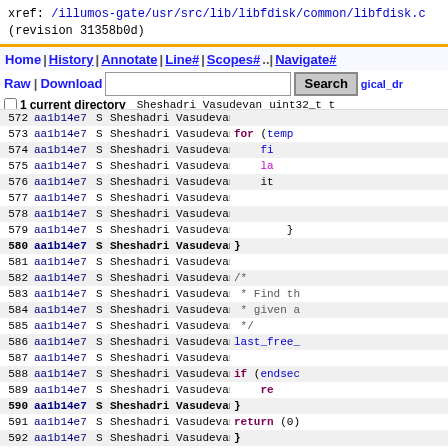xref: /illumos-gate/usr/src/lib/libfdisk/common/libfdisk.c (revision 31358b0d)
Home | History | Annotate | Line# | Scopes# | Navigate# | Raw | Download | Search | current directory
| line | rev | S | author | code |
| --- | --- | --- | --- | --- |
| 569 | aa1b14e7 | S | Sheshadri Vasudevan | { |
| 570 | aa1b14e7 | S | Sheshadri Vasudevan | $17    logical_dr |
| 571 | aa1b14e7 | S | Sheshadri Vasudevan |     uint32_t t |
| 572 | aa1b14e7 | S | Sheshadri Vasudevan |  |
| 573 | aa1b14e7 | S | Sheshadri Vasudevan | for (temp |
| 574 | aa1b14e7 | S | Sheshadri Vasudevan |     fi |
| 575 | aa1b14e7 | S | Sheshadri Vasudevan |     la |
| 576 | aa1b14e7 | S | Sheshadri Vasudevan |     it |
| 577 | aa1b14e7 | S | Sheshadri Vasudevan |  |
| 578 | aa1b14e7 | S | Sheshadri Vasudevan |  |
| 579 | aa1b14e7 | S | Sheshadri Vasudevan |     } |
| 580 | aa1b14e7 | S | Sheshadri Vasudevan | } |
| 581 | aa1b14e7 | S | Sheshadri Vasudevan |  |
| 582 | aa1b14e7 | S | Sheshadri Vasudevan | /* |
| 583 | aa1b14e7 | S | Sheshadri Vasudevan |  * Find th |
| 584 | aa1b14e7 | S | Sheshadri Vasudevan |  * given a |
| 585 | aa1b14e7 | S | Sheshadri Vasudevan |  */ |
| 586 | aa1b14e7 | S | Sheshadri Vasudevan | last_free_ |
| 587 | aa1b14e7 | S | Sheshadri Vasudevan |  |
| 588 | aa1b14e7 | S | Sheshadri Vasudevan | if (endsec |
| 589 | aa1b14e7 | S | Sheshadri Vasudevan |     re |
| 590 | aa1b14e7 | S | Sheshadri Vasudevan | } |
| 591 | aa1b14e7 | S | Sheshadri Vasudevan | return (0) |
| 592 | aa1b14e7 | S | Sheshadri Vasudevan | } |
| 593 | aa1b14e7 | S | Sheshadri Vasudevan |  |